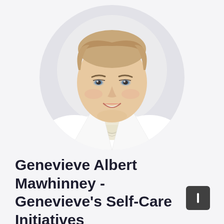[Figure (photo): Circular headshot portrait of a woman with light brown hair pulled back, wearing a white blazer and cream top, smiling, against a light grey circular background]
Genevieve Albert Mawhinney - Genevieve's Self-Care Initiatives